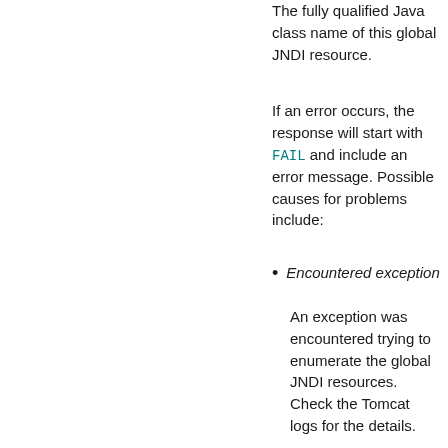The fully qualified Java class name of this global JNDI resource.
If an error occurs, the response will start with FAIL and include an error message. Possible causes for problems include:
Encountered exception
An exception was encountered trying to enumerate the global JNDI resources. Check the Tomcat logs for the details.
No global JNDI resources are available
The Tomcat server you are running has been configured without global JNDI resources